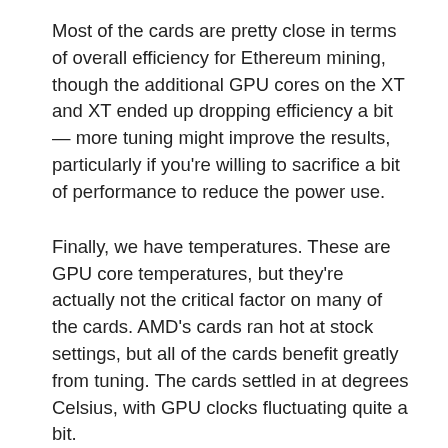Most of the cards are pretty close in terms of overall efficiency for Ethereum mining, though the additional GPU cores on the XT and XT ended up dropping efficiency a bit — more tuning might improve the results, particularly if you're willing to sacrifice a bit of performance to reduce the power use.
Finally, we have temperatures. These are GPU core temperatures, but they're actually not the critical factor on many of the cards. AMD's cards ran hot at stock settings, but all of the cards benefit greatly from tuning. The cards settled in at degrees Celsius, with GPU clocks fluctuating quite a bit.
This brings us to the main area of interest. Let's start by noting that every card model is different — and even cards of the same model may vary in performance characteristics. That's because EVGA appears to have